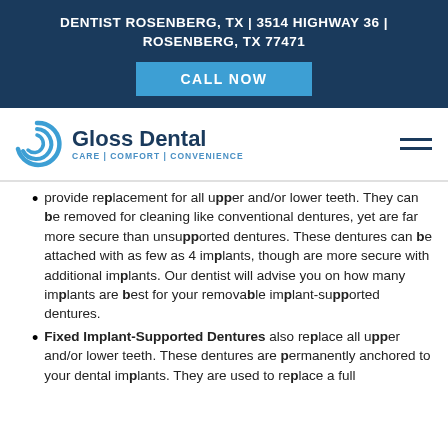DENTIST ROSENBERG, TX | 3514 HIGHWAY 36 | ROSENBERG, TX 77471
[Figure (logo): Gloss Dental logo with circular blue swirl icon and tagline CARE | COMFORT | CONVENIENCE]
provide replacement for all upper and/or lower teeth. They can be removed for cleaning like conventional dentures, yet are far more secure than unsupported dentures. These dentures can be attached with as few as 4 implants, though are more secure with additional implants. Our dentist will advise you on how many implants are best for your removable implant-supported dentures.
Fixed Implant-Supported Dentures also replace all upper and/or lower teeth. These dentures are permanently anchored to your dental implants. They are used to replace a full